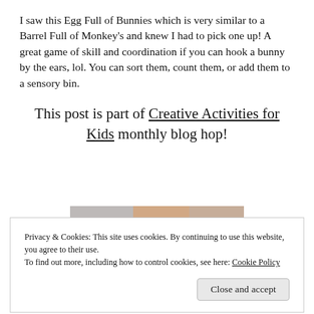I saw this Egg Full of Bunnies which is very similar to a Barrel Full of Monkey's and knew I had to pick one up! A great game of skill and coordination if you can hook a bunny by the ears, lol. You can sort them, count them, or add them to a sensory bin.
This post is part of Creative Activities for Kids monthly blog hop!
[Figure (photo): Partially visible photo of what appears to be a crafts or kids activity scene with colorful objects, partially obscured by the cookie consent banner.]
Privacy & Cookies: This site uses cookies. By continuing to use this website, you agree to their use.
To find out more, including how to control cookies, see here: Cookie Policy